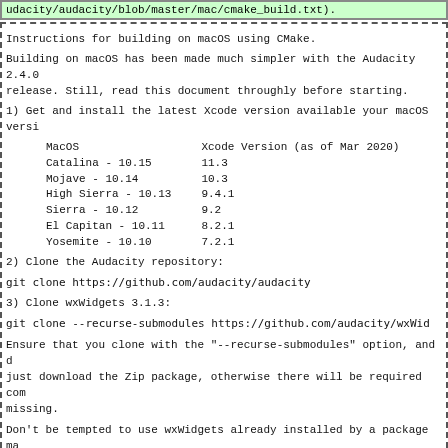udacity/audacity/blob/master/mac/cmake_build.txt).
Instructions for building on macOS using CMake.
Building on macOS has been made much simpler with the Audacity 2.4.0 release. Still, read this document throughly before starting.
1) Get and install the latest Xcode version available your macOS versi
| MacOS | Xcode Version (as of Mar 2020) |
| --- | --- |
| Catalina - 10.15 | 11.3 |
| Mojave - 10.14 | 10.3 |
| High Sierra - 10.13 | 9.4.1 |
| Sierra - 10.12 | 9.2 |
| El Capitan - 10.11 | 8.2.1 |
| Yosemite - 10.10 | 7.2.1 |
2) Clone the Audacity repository:
git clone https://github.com/audacity/audacity
3) Clone wxWidgets 3.1.3:
git clone --recurse-submodules https://github.com/audacity/wxWid
Ensure that you clone with the "--recurse-submodules" option, and do not just download the Zip package, otherwise there will be required components missing.
Don't be tempted to use wxWidgets already installed by a package manager such as Homebrew because this will cause problems.
We have applied some Audacity specific patches to wxWidgets to better support VoiceOver, so please use the audacity-fixes-3.1.3 branch. It is the default branch on our GitHub copy:
https://github.com/audacity/wxWidgets/tree/audacity_fixes_3.1.3